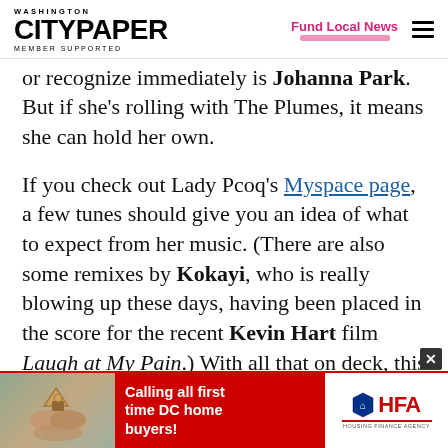Washington City Paper — Member Supported | Fund Local News
or recognize immediately is Johanna Park. But if she's rolling with The Plumes, it means she can hold her own.
If you check out Lady Pcoq's Myspace page, a few tunes should give you an idea of what to expect from her music. (There are also some remixes by Kokayi, who is really blowing up these days, having been placed in the score for the recent Kevin Hart film Laugh at My Pain.) With all that on deck, this Sunday's show promises to be
[Figure (infographic): Advertisement banner for HFA (Housing Finance Agency) - 'Calling all first time DC home buyers!' with photo of hands holding a house keychain]